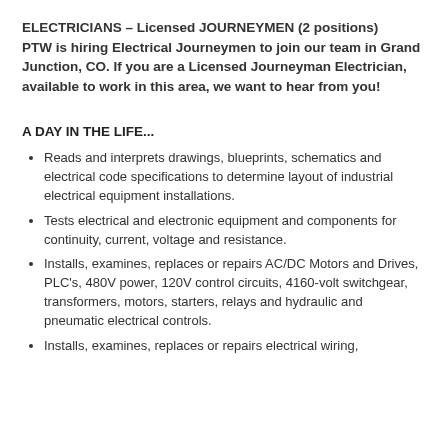ELECTRICIANS – Licensed JOURNEYMEN (2 positions) PTW is hiring Electrical Journeymen to join our team in Grand Junction, CO. If you are a Licensed Journeyman Electrician, available to work in this area, we want to hear from you!
A DAY IN THE LIFE...
Reads and interprets drawings, blueprints, schematics and electrical code specifications to determine layout of industrial electrical equipment installations.
Tests electrical and electronic equipment and components for continuity, current, voltage and resistance.
Installs, examines, replaces or repairs AC/DC Motors and Drives, PLC's, 480V power, 120V control circuits, 4160-volt switchgear, transformers, motors, starters, relays and hydraulic and pneumatic electrical controls.
Installs, examines, replaces or repairs electrical wiring,